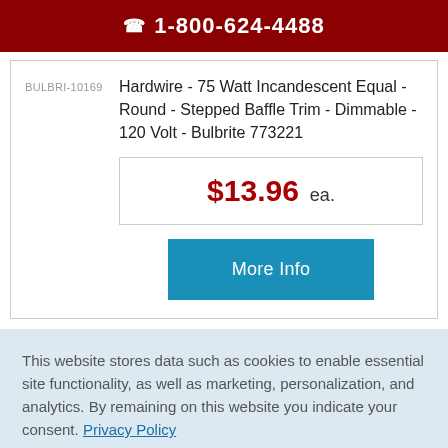☎ 1-800-624-4488
BULBRI-10169
Hardwire - 75 Watt Incandescent Equal - Round - Stepped Baffle Trim - Dimmable - 120 Volt - Bulbrite 773221
$13.96 ea.
More Info
This website stores data such as cookies to enable essential site functionality, as well as marketing, personalization, and analytics. By remaining on this website you indicate your consent. Privacy Policy